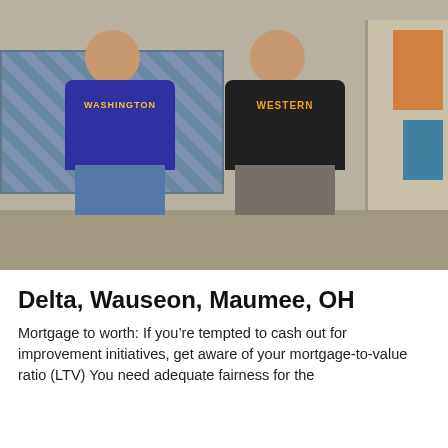[Figure (photo): Two men standing in what appears to be a TV sitcom bedroom set. The man on the left wears a purple Washington sweatshirt with jeans, and the man on the right wears a dark/black Western sweatshirt with gray pants. A bunk bed with plaid bedding is visible behind the left figure, and bookshelves are on the right side.]
Delta, Wauseon, Maumee, OH
Mortgage to worth: If you’re tempted to cash out for improvement initiatives, get aware of your mortgage-to-value ratio (LTV) You need adequate fairness for the